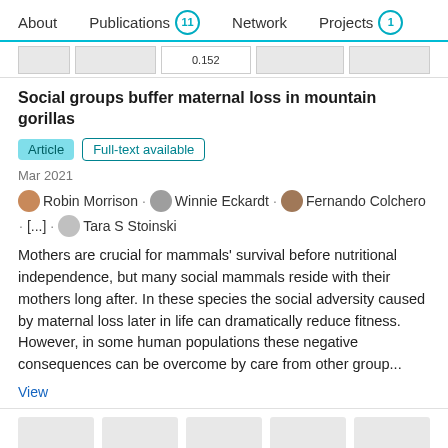About   Publications 11   Network   Projects 1
[Figure (screenshot): Thumbnail strip showing partial table/figure with value 0.152]
Social groups buffer maternal loss in mountain gorillas
Article   Full-text available
Mar 2021
Robin Morrison · Winnie Eckardt · Fernando Colchero · [...] · Tara S Stoinski
Mothers are crucial for mammals' survival before nutritional independence, but many social mammals reside with their mothers long after. In these species the social adversity caused by maternal loss later in life can dramatically reduce fitness. However, in some human populations these negative consequences can be overcome by care from other group...
View
[Figure (screenshot): Bottom loading strip with five gray placeholder thumbnail boxes]